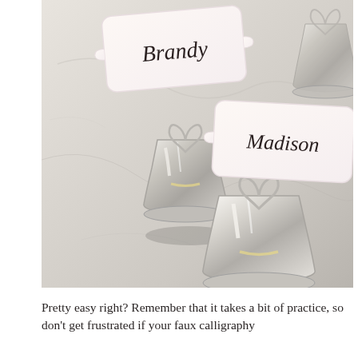[Figure (photo): Close-up photo of small silver bell-shaped place card holders with heart-shaped wire tops on a marble surface. Two name cards are visible: one reading 'Brandy' in script at top left, and one reading 'Madison' in script in the center-right area. The bells are shiny silver with a faceted design.]
Pretty easy right? Remember that it takes a bit of practice, so don't get frustrated if your faux calligraphy